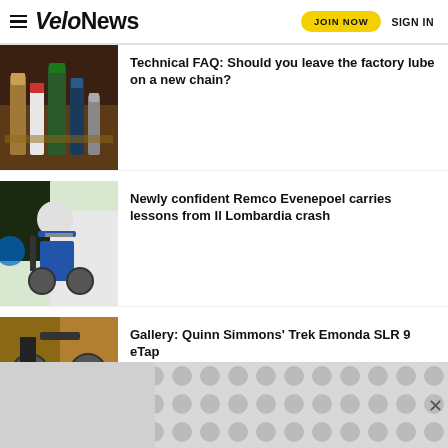VeloNews | JOIN NOW | SIGN IN
[Figure (photo): Various chain lubricant bottles on a wooden surface]
Technical FAQ: Should you leave the factory lube on a new chain?
[Figure (photo): Remco Evenepoel cycling in a race]
Newly confident Remco Evenepoel carries lessons from Il Lombardia crash
[Figure (photo): Quinn Simmons' Trek Emonda SLR 9 eTap bike]
Gallery: Quinn Simmons' Trek Emonda SLR 9 eTap
[Figure (other): Advertisement banner with circular pattern]